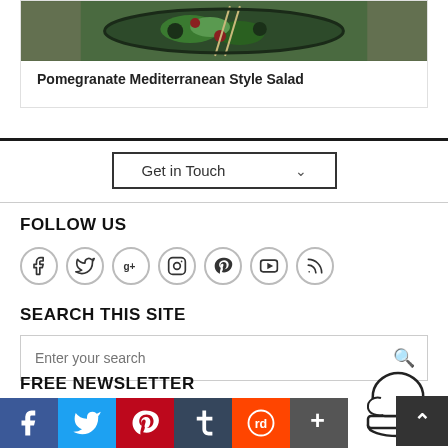[Figure (photo): Photo of a Mediterranean salad bowl with greens and toppings, viewed from above with chopsticks]
Pomegranate Mediterranean Style Salad
Get in Touch
FOLLOW US
[Figure (infographic): Row of 7 circular social media icons: Facebook, Twitter, Google+, Instagram, Pinterest, YouTube, RSS]
SEARCH THIS SITE
Enter your search
FREE NEWSLETTER
Create tasty, easy, delightful food. Get our cooking tips!
[Figure (illustration): Chef hat illustration outline]
[Figure (infographic): Social share bar with Facebook, Twitter, Pinterest, Tumblr, Reddit, More buttons]